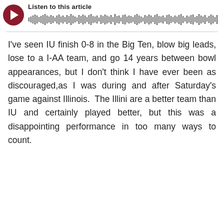[Figure (other): Audio player widget with dark red circular play button and waveform visualization, labeled 'Listen to this article']
I've seen IU finish 0-8 in the Big Ten, blow big leads, lose to a I-AA team, and go 14 years between bowl appearances, but I don't think I have ever been as discouraged,as I was during and after Saturday's game against Illinois.  The Illini are a better team than IU and certainly played better, but this was a disappointing performance in too many ways to count.